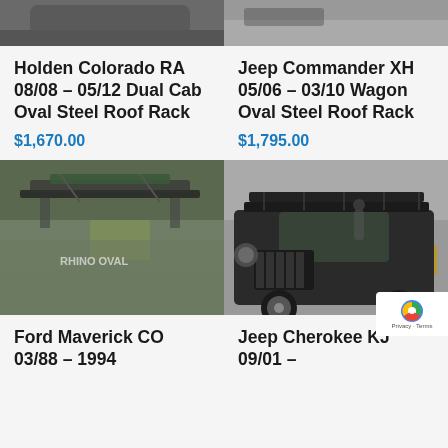[Figure (photo): Top portion of Holden Colorado RA vehicle with roof rack, partially visible]
[Figure (photo): Top portion of Jeep Commander XH vehicle, partially visible]
Holden Colorado RA 08/08 – 05/12 Dual Cab Oval Steel Roof Rack
$1,670.00
Jeep Commander XH 05/06 – 03/10 Wagon Oval Steel Roof Rack
$1,795.00
[Figure (photo): Close-up of an oval steel roof rack mounted on a dark green vehicle, with equipment loaded on it]
[Figure (photo): Black Jeep Cherokee KJ with oval steel roof rack, parked in a warehouse/garage setting]
Ford Maverick CO 03/88 – 1994
Jeep Cherokee KJ 09/01 –